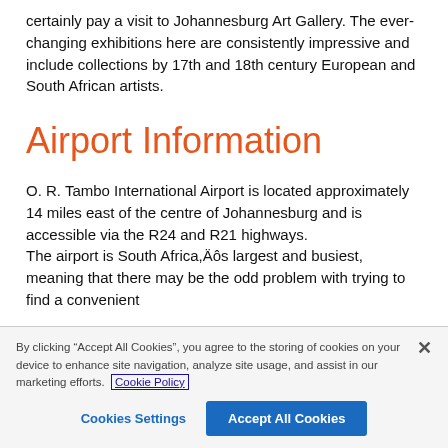certainly pay a visit to Johannesburg Art Gallery. The ever-changing exhibitions here are consistently impressive and include collections by 17th and 18th century European and South African artists.
Airport Information
O. R. Tambo International Airport is located approximately 14 miles east of the centre of Johannesburg and is accessible via the R24 and R21 highways. The airport is South Africa,Äôs largest and busiest, meaning that there may be the odd problem with trying to find a convenient
By clicking "Accept All Cookies", you agree to the storing of cookies on your device to enhance site navigation, analyze site usage, and assist in our marketing efforts. Cookie Policy
Cookies Settings
Accept All Cookies